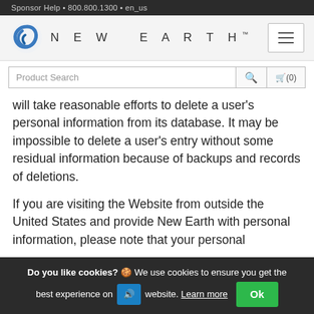Sponsor Help • 800.800.1300 • en_us
[Figure (logo): New Earth logo with blue spiral icon and spaced-letter brand name NEW EARTH]
Product Search   Q   🛒(0)
will take reasonable efforts to delete a user's personal information from its database. It may be impossible to delete a user's entry without some residual information because of backups and records of deletions.

If you are visiting the Website from outside the United States and provide New Earth with personal information, please note that your personal
Do you like cookies? 🍪 We use cookies to ensure you get the best experience on our website. Learn more   Ok